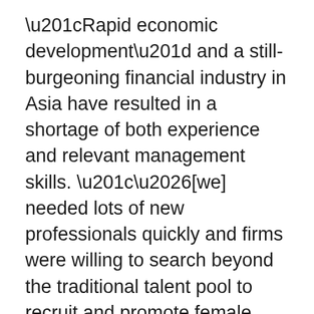“Rapid economic development” and a still-burgeoning financial industry in Asia have resulted in a shortage of both experience and relevant management skills. “…[we] needed lots of new professionals quickly and firms were willing to search beyond the traditional talent pool to recruit and promote female investment professionals”, says @Fidelity portfolio manager Gillian Kwek. But it’s not all about gender. Says @DianrongChina CMO Pat Jing: “This has created more opportunities for women to move forward in their careers, not because they are women but because they are good